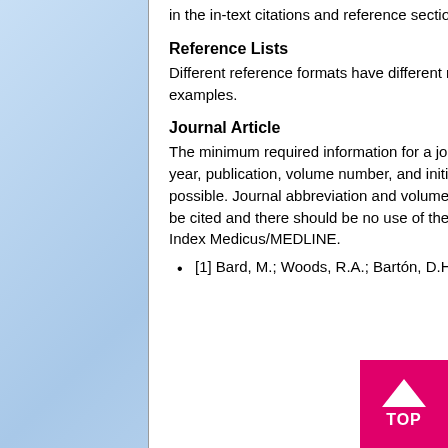in the in-text citations and reference section should be avoided.
Reference Lists
Different reference formats have different rules for citation. See below for some common format examples.
Journal Article
The minimum required information for a journal article reference is author, abbreviated journal title, year, publication, volume number, and initial page of cited article, though complete pagination is possible. Journal abbreviation and volume are italicized. Year of publication is bold. All authors must be cited and there should be no use of the phrase et al. Journal abbreviations should follow the Index Medicus/MEDLINE.
[1]  Bard, M.; Woods, R.A.; Bartón, D.H.; Corrie, J.E.; Widdowson, D.A.